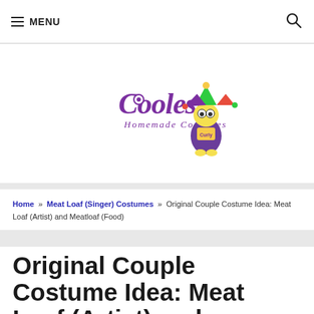MENU
[Figure (logo): Coolest Homemade Costumes logo with purple text and cartoon character mascot wearing a jester hat]
Home » Meat Loaf (Singer) Costumes » Original Couple Costume Idea: Meat Loaf (Artist) and Meatloaf (Food)
Original Couple Costume Idea: Meat Loaf (Artist) and Meatloaf (Food)